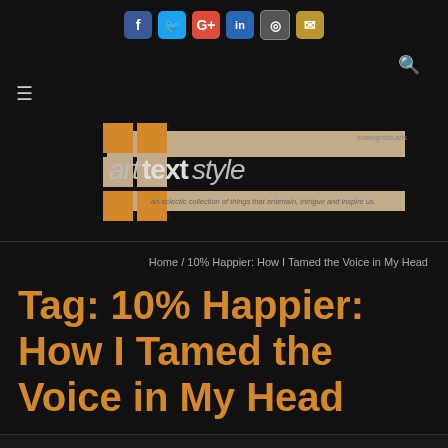[Figure (screenshot): Website header with social media icons: Facebook, Twitter, Google+, LinkedIn, Instagram, Email]
[Figure (logo): arttextstyle logo with orange squares, tan banner, and tagline 'an eclectic collection of things that entertain, intrigue and inspire us.' and domain 'browngrotto.arts']
Home / 10% Happier: How I Tamed the Voice in My Head
Tag: 10% Happier: How I Tamed the Voice in My Head